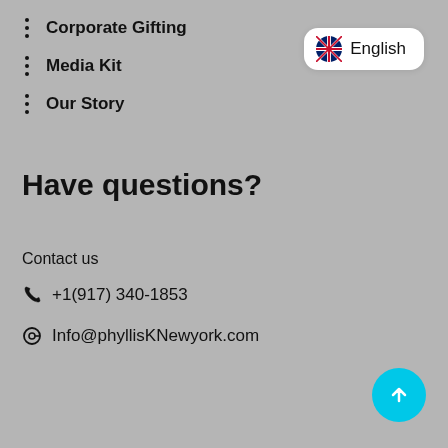Corporate Gifting
Media Kit
Our Story
[Figure (other): UK flag icon with English language selector pill button]
Have questions?
Contact us
+1(917) 340-1853
Info@phyllisKNewyork.com
[Figure (other): Cyan circular scroll-to-top button with upward arrow]